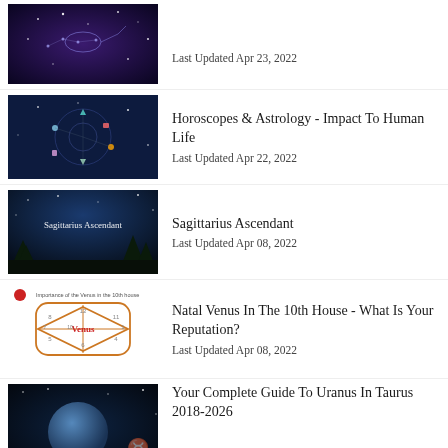[Figure (photo): Scorpio astrology thumbnail with scorpion constellation on dark blue/purple starry background]
Last Updated Apr 23, 2022
[Figure (illustration): Horoscopes and astrology zodiac wheel illustration with colorful animal symbols on dark blue starry background]
Horoscopes & Astrology - Impact To Human Life
Last Updated Apr 22, 2022
[Figure (photo): Dark night sky with trees silhouette and text 'Sagittarius Ascendant']
Sagittarius Ascendant
Last Updated Apr 08, 2022
[Figure (illustration): Natal chart diagram showing Venus in the 10th house, orange geometric diamond/square chart on white background]
Natal Venus In The 10th House - What Is Your Reputation?
Last Updated Apr 08, 2022
[Figure (photo): Uranus planet on dark starry background with Taurus symbol]
Your Complete Guide To Uranus In Taurus 2018-2026